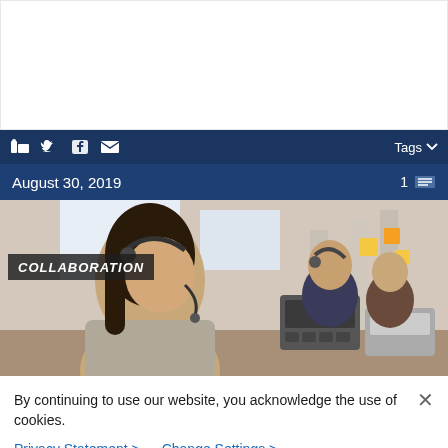[Figure (other): White empty content area at top of page]
Social sharing bar with LinkedIn, Twitter, Facebook, Email icons and Tags dropdown
August 30, 2019  1
[Figure (photo): Photo of call center workers wearing headsets at desks with office phones. Woman in foreground wearing grey turtleneck and headset. Two more workers visible behind her. COLLABORATION label overlaid on image.]
By continuing to use our website, you acknowledge the use of cookies.
Privacy Statement >  Change Settings >